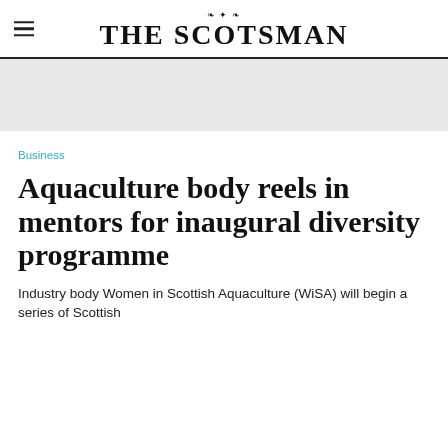THE SCOTSMAN
Business
Aquaculture body reels in mentors for inaugural diversity programme
Industry body Women in Scottish Aquaculture (WiSA) will begin a series of Scottish